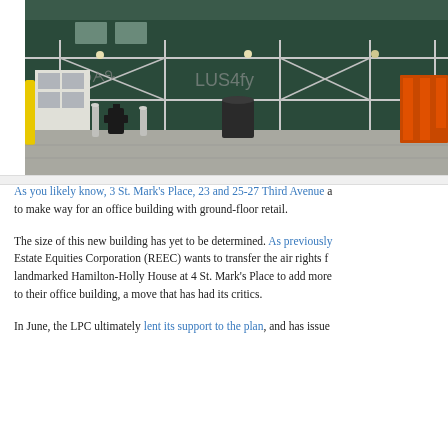[Figure (photo): Street-level photo of a construction site with dark green hoarding/scaffolding fence, graffiti on boards, bollards, a fire hydrant, a trash can, and a metal scaffolding structure. Urban sidewalk scene.]
As you likely know, 3 St. Mark's Place, 23 and 25-27 Third Avenue a... to make way for an office building with ground-floor retail.
The size of this new building has yet to be determined. As previously... Estate Equities Corporation (REEC) wants to transfer the air rights f... landmarked Hamilton-Holly House at 4 St. Mark's Place to add more... to their office building, a move that has had its critics.
In June, the LPC ultimately lent its support to the plan, and has issue...